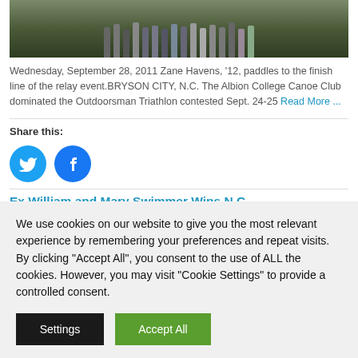[Figure (photo): Top portion of a group photo showing people's legs and feet standing outdoors on grass/dirt]
Wednesday, September 28, 2011 Zane Havens, '12, paddles to the finish line of the relay event.BRYSON CITY, N.C. The Albion College Canoe Club dominated the Outdoorsman Triathlon contested Sept. 24-25 Read More ...
Share this:
[Figure (other): Twitter and Facebook social share icon buttons (blue circles with white icons)]
Ex William and Mary Swimmer Wins N.C.
We use cookies on our website to give you the most relevant experience by remembering your preferences and repeat visits. By clicking "Accept All", you consent to the use of ALL the cookies. However, you may visit "Cookie Settings" to provide a controlled consent.